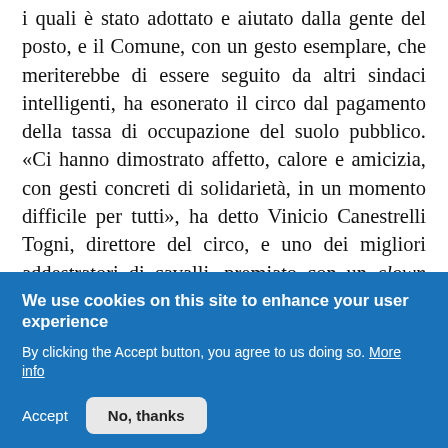i quali è stato adottato e aiutato dalla gente del posto, e il Comune, con un gesto esemplare, che meriterebbe di essere seguito da altri sindaci intelligenti, ha esonerato il circo dal pagamento della tassa di occupazione del suolo pubblico. «Ci hanno dimostrato affetto, calore e amicizia, con gesti concreti di solidarietà, in un momento difficile per tutti», ha detto Vinicio Canestrelli Togni, direttore del circo, e uno dei migliori addestratori di cavalli, premiato con un clown d'argento nel 2012 al Festival del Circo di
We use cookies on this site to enhance your user experience
By clicking the Accept button, you agree to us doing so. More info
Accept
No, thanks